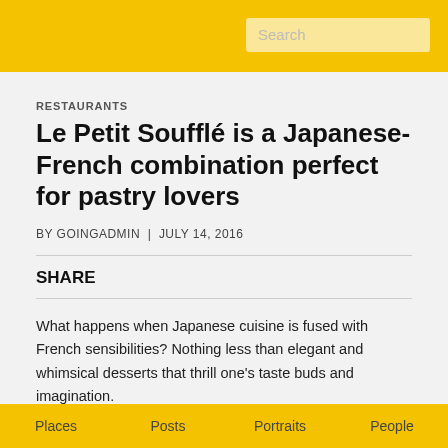Search
RESTAURANTS
Le Petit Soufflé is a Japanese-French combination perfect for pastry lovers
BY GOINGADMIN | JULY 14, 2016
SHARE
What happens when Japanese cuisine is fused with French sensibilities? Nothing less than elegant and whimsical desserts that thrill one's taste buds and imagination.
Le Petit Soufflé's unique Japanese-French concept will have any
Places | Posts | Portraits | People